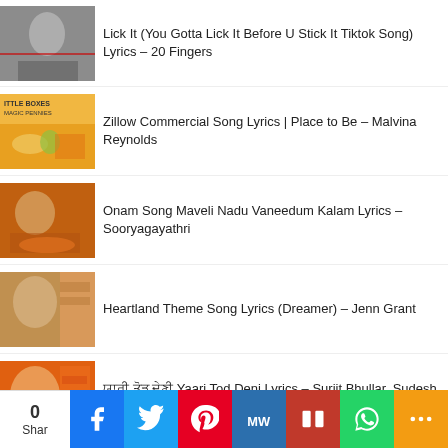Lick It (You Gotta Lick It Before U Stick It Tiktok Song) Lyrics – 20 Fingers
Zillow Commercial Song Lyrics | Place to Be – Malvina Reynolds
Onam Song Maveli Nadu Vaneedum Kalam Lyrics – Sooryagayathri
Heartland Theme Song Lyrics (Dreamer) – Jenn Grant
ਯਾਰੀ ਤੋੜ ਦੇਣੀ Yaari Tod Deni Lyrics – Surjit Bhullar, Sudesh Kumari
[Figure (infographic): Social share bar with count 0 and buttons for Facebook, Twitter, Pinterest, MeWe, Mix, WhatsApp, and more]